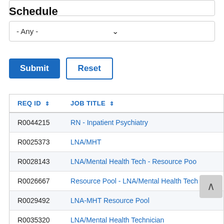[Figure (screenshot): Top input bar (partial, cropped at top of page)]
Schedule
[Figure (screenshot): Dropdown select field showing '- Any -' with chevron]
[Figure (screenshot): Submit button (blue) and Reset button (outlined)]
| REQ ID | JOB TITLE |
| --- | --- |
| R0044215 | RN - Inpatient Psychiatry |
| R0025373 | LNA/MHT |
| R0028143 | LNA/Mental Health Tech - Resource Poo |
| R0026667 | Resource Pool - LNA/Mental Health Tech |
| R0029492 | LNA-MHT Resource Pool |
| R0035320 | LNA/Mental Health Technician |